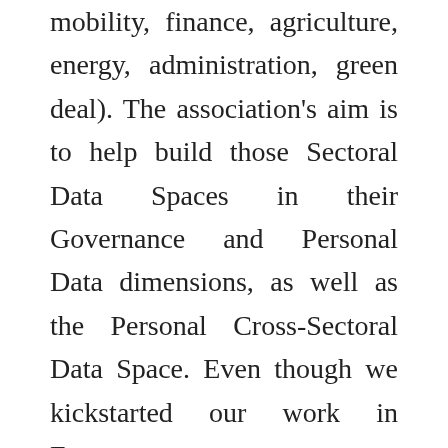mobility, finance, agriculture, energy, administration, green deal). The association's aim is to help build those Sectoral Data Spaces in their Governance and Personal Data dimensions, as well as the Personal Cross-Sectoral Data Space. Even though we kickstarted our work in Europe, we put a great emphasis on our international dimension: we believe we are contributing to building a new paradigm that should be shared beyond the European borders. The objective is to encourage human-centric fair use of data (primary, secondary...), moving away from both All-State and Platform-centric